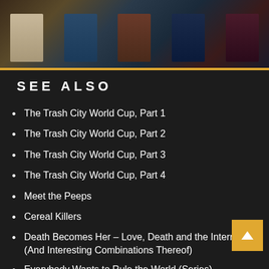[Figure (photo): Top banner showing a shelf of VHS tapes and movie covers]
SEE ALSO
The Trash City World Cup, Part 1
The Trash City World Cup, Part 2
The Trash City World Cup, Part 3
The Trash City World Cup, Part 4
Meet the Peeps
Cereal Killers
Death Becomes Her – Love, Death and the Internet (And Interesting Combinations Thereof)
Everybody Wants to Rule the World (Series)
Monsters, Inc. – The World of Very Large Vehicles
It's a Baseball World After All... The growing global appeal of the US national sport
Independents' Day: the other California recall candid
The Numbers Game
Twilight's Last Gleaming